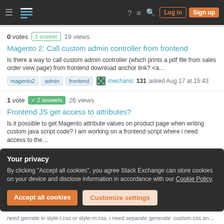Stack Exchange navigation bar with Log in and Sign up buttons
0 votes  1 answer  19 views
Magento 2: Call custom admin controller from frontend
Is there a way to call custom admin controller (which prints a pdf file from sales order view page) from frontend download anchor link? <a...
magento2  admin  frontend  mechanic 131 asked Aug 17 at 15:43
1 vote  2 answers  26 views
Frontend JS get access to attributes?
Is it possible to get Magento attribute values on product page when writing custom java script code? I am working on a frontend script where i need access to the...
Your privacy
By clicking “Accept all cookies”, you agree Stack Exchange can store cookies on your device and disclose information in accordance with our Cookie Policy.
Accept all cookies    Customize settings
need genrate in style-l.css or style-m.css. i need separate generate .custom.css an...